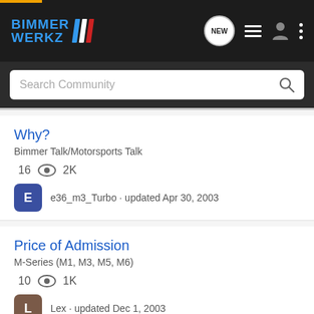BIMMERWERKZ — navigation header with logo, NEW posts icon, list icon, user icon, menu dots
Search Community
Why?
Bimmer Talk/Motorsports Talk
16  2K
e36_m3_Turbo · updated Apr 30, 2003
Price of Admission
M-Series (M1, M3, M5, M6)
10  1K
Lex · updated Dec 1, 2003